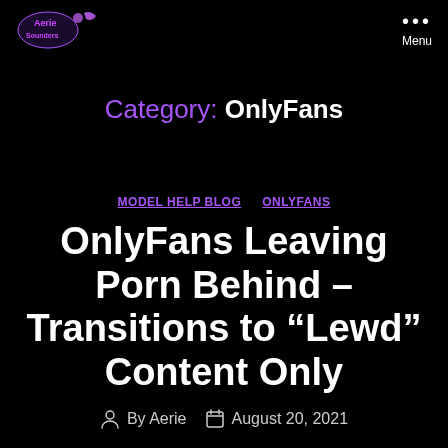Aerie Sounders logo | Menu
Category: OnlyFans
MODEL HELP BLOG  ONLYFANS
OnlyFans Leaving Porn Behind – Transitions to "Lewd" Content Only
By Aerie  August 20, 2021